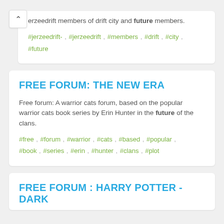jerzeedrift members of drift city and future members.
#jerzeedrift- , #jerzeedrift , #members , #drift , #city , #future
FREE FORUM: THE NEW ERA
Free forum: A warrior cats forum, based on the popular warrior cats book series by Erin Hunter in the future of the clans.
#free , #forum , #warrior , #cats , #based , #popular , #book , #series , #erin , #hunter , #clans , #plot
FREE FORUM : HARRY POTTER - DARK